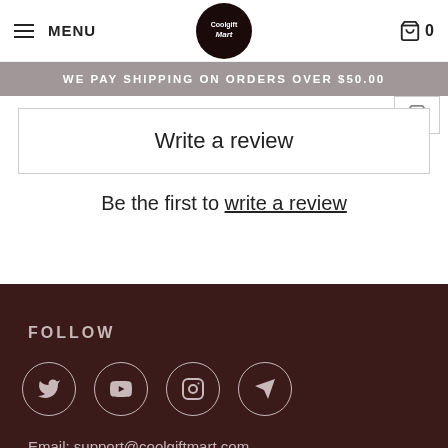MENU | CoolGift Mart | 0
WE PAY SHIPPING ON ORDERS OVER $50.00
Write a review
Be the first to write a review
FOLLOW
[Figure (infographic): Social media icons in circles: Twitter, YouTube, Instagram, Telegram]
Email: support@coolgiftmart.com
FAQ